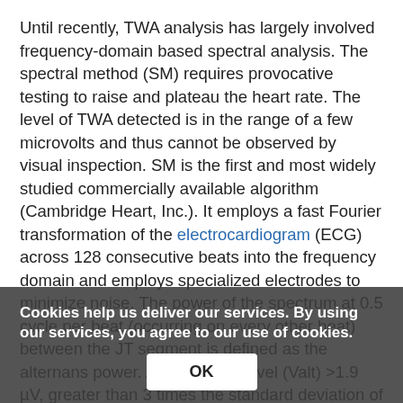Until recently, TWA analysis has largely involved frequency-domain based spectral analysis. The spectral method (SM) requires provocative testing to raise and plateau the heart rate. The level of TWA detected is in the range of a few microvolts and thus cannot be observed by visual inspection. SM is the first and most widely studied commercially available algorithm (Cambridge Heart, Inc.). It employs a fast Fourier transformation of the electrocardiogram (ECG) across 128 consecutive beats into the frequency domain and employs specialized electrodes to minimize noise. The power of the spectrum at 0.5 cycle per beat (occurring on every other beat) between the JT segment is defined as the alternans power. An alternans level (Valt) >1.9 µV, greater than 3 times the standard deviation of noise (k score), and sustained for at least one minute at stable heart rates <110 beats per minute is considered a positive test, indicating that TWA is present. A negative test is defined as one that has a Valt of <1.9 µV at a heart rate >105 bpm without significant noise or premature beats. Tests that do not strictly meet the positive or negative test definitions are referred to as indeterminate [10] and occur in up to 40% of all cases. Most recent studies using SM have grouped positive and indeterminate
Cookies help us deliver our services. By using our services, you agree to our use of cookies.